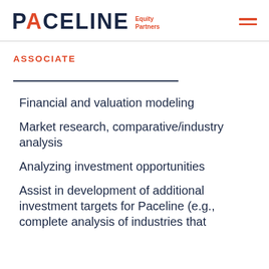PACELINE Equity Partners
ASSOCIATE
Financial and valuation modeling
Market research, comparative/industry analysis
Analyzing investment opportunities
Assist in development of additional investment targets for Paceline (e.g., complete analysis of industries that